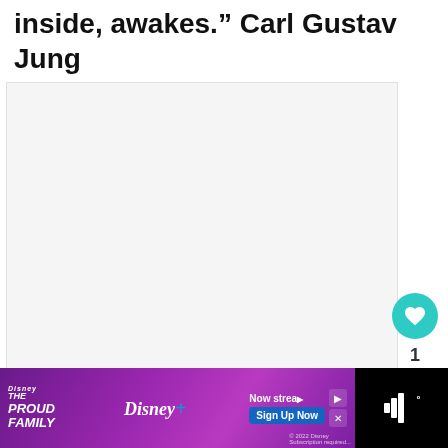inside, awakes.” Carl Gustav Jung
[Figure (photo): Large light gray image placeholder area]
[Figure (infographic): Like button (teal heart), count of 1, and share button on the right side]
1
WHAT’S NEXT → Inspirational Quotes Abo...
[Figure (infographic): Disney+ advertisement banner - The Proud Family: Louder and Prouder. Now streaming. Sign Up Now.]